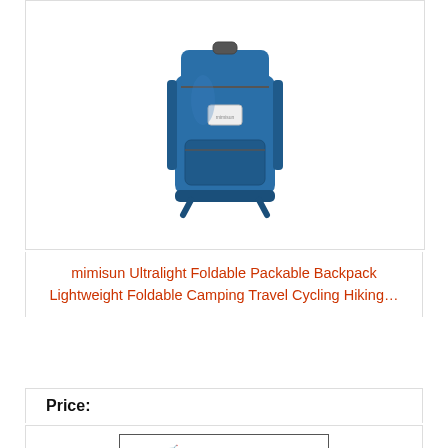[Figure (photo): Blue foldable packable backpack product photo on white background]
mimisun Ultralight Foldable Packable Backpack Lightweight Foldable Camping Travel Cycling Hiking…
Price:
Buy on Amazon
[Figure (photo): Gray backpack and colorful folded backpacks product photo on white background]